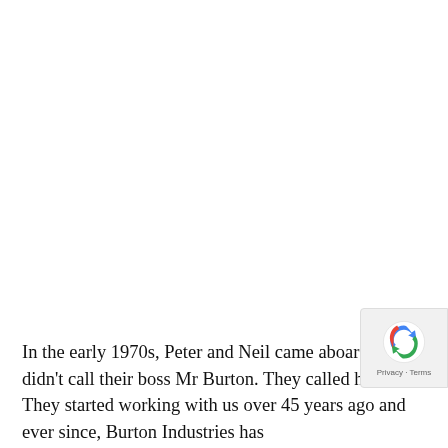In the early 1970s, Peter and Neil came aboard. They didn't call their boss Mr Burton. They called him Dad. They started working with us over 45 years ago and ever since, Burton Industries has